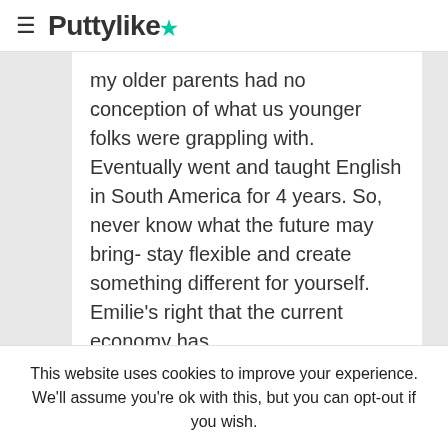≡ Puttylike★
my older parents had no conception of what us younger folks were grappling with. Eventually went and taught English in South America for 4 years. So, never know what the future may bring- stay flexible and create something different for yourself. Emilie's right that the current economy has
This website uses cookies to improve your experience. We'll assume you're ok with this, but you can opt-out if you wish.
Cookie settings   ACCEPT